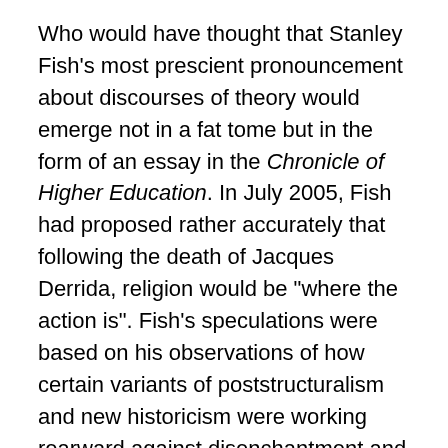Who would have thought that Stanley Fish's most prescient pronouncement about discourses of theory would emerge not in a fat tome but in the form of an essay in the Chronicle of Higher Education. In July 2005, Fish had proposed rather accurately that following the death of Jacques Derrida, religion would be "where the action is". Fish's speculations were based on his observations of how certain variants of poststructuralism and new historicism were working rearward against disenchantment and the critical secularisation thesis. But more prophetically, he foresaw how religion was supplanting "the triumvirate of race, gender and class". All kinds of sceptics seemed to him to be on one side — and a resurgent fideism on the other.
The map of early modern western cultural criticism is indeed being recast. The struggle between the